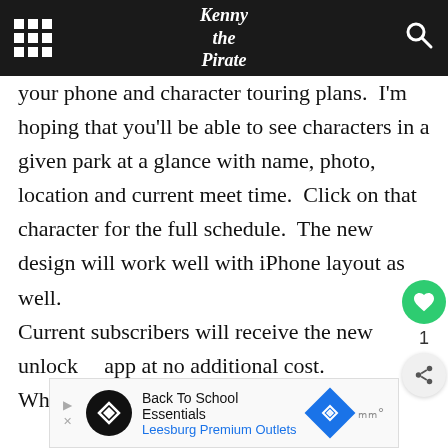Kenny the Pirate
your phone and character touring plans.  I'm hoping that you'll be able to see characters in a given park at a glance with name, photo, location and current meet time.  Click on that character for the full schedule.  The new design will work well with iPhone layout as well.

Current subscribers will receive the new unlocked app at no additional cost.

What do you think about the changes?
[Figure (other): Advertisement banner: Back To School Essentials - Leesburg Premium Outlets]